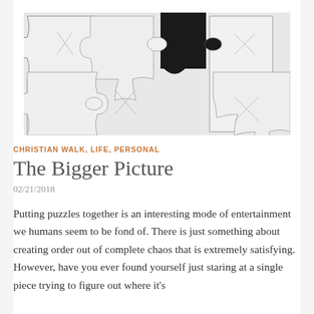[Figure (photo): A puzzle image showing white jigsaw puzzle pieces assembled together with one missing piece revealing a dark/black gap in the upper right area of the puzzle.]
CHRISTIAN WALK, LIFE, PERSONAL
The Bigger Picture
02/21/2018
Putting puzzles together is an interesting mode of entertainment we humans seem to be fond of. There is just something about creating order out of complete chaos that is extremely satisfying. However, have you ever found yourself just staring at a single piece trying to figure out where it's